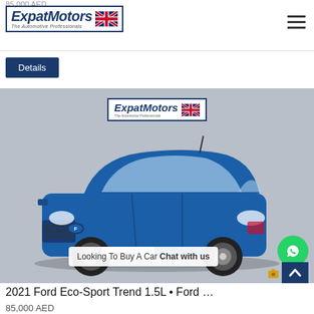85,000 AED
[Figure (logo): ExpatMotors logo with UK flag and tagline 'The Automotive Professionals']
Details
[Figure (photo): Photo of a blue 2021 Ford EcoSport Trend 1.5L parked, with ExpatMotors watermark logo overlay, a chat bubble 'Looking To Buy A Car Chat with us', and WhatsApp/scroll-to-top buttons]
2021 Ford Eco-Sport Trend 1.5L • Ford …
85,000 AED